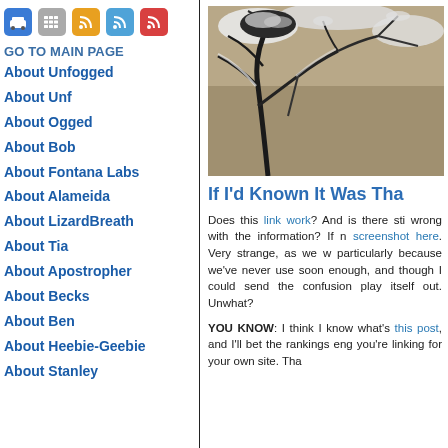[Figure (other): Row of icon buttons: car icon (blue), grid/keyboard icon (gray), RSS icon (orange), RSS icon (light blue), RSS icon (red)]
GO TO MAIN PAGE
About Unfogged
About Unf
About Ogged
About Bob
About Fontana Labs
About Alameida
About LizardBreath
About Tia
About Apostropher
About Becks
About Ben
About Heebie-Geebie
About Stanley
[Figure (photo): Photo of snow-covered tree branches against a beige/tan background]
If I'd Known It Was Tha
Does this link work? And is there sti wrong with the information? If n screenshot here. Very strange, as we w particularly because we've never use soon enough, and though I could send the confusion play itself out. Unwhat?
YOU KNOW: I think I know what's this post, and I'll bet the rankings eng you're linking for your own site. Tha